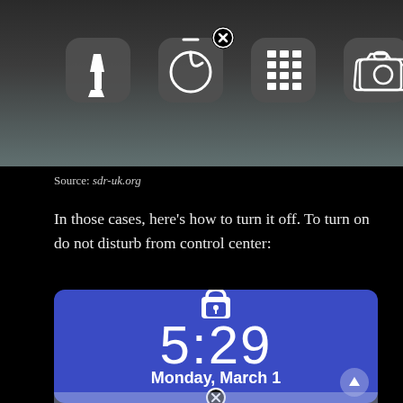[Figure (screenshot): iOS Control Center screenshot showing icons for flashlight, timer (with remove/close badge), calculator, and camera on a dark blurred background]
Source: sdr-uk.org
In those cases, here's how to turn it off. To turn on do not disturb from control center:
[Figure (screenshot): iPhone lock screen showing time 5:29, date Monday March 1, on a blue/purple background with lock icon at top, triangle arrow button bottom right, and a close badge at the bottom]